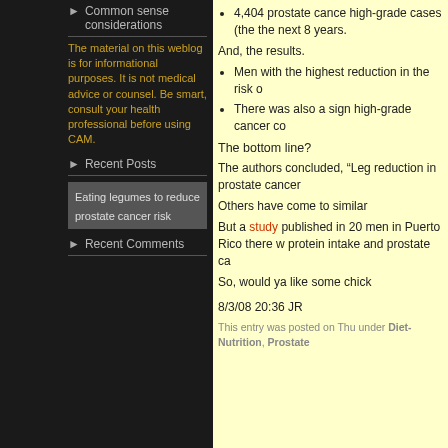▶ Common sense considerations
The material on this weblog is for informational purposes. It is not medical advice or counsel. Be smart, consult your health professional before using CAM.
▶ Recent Posts
Eating legumes to reduce prostate cancer risk
▶ Recent Comments
4,404 prostate cancer high-grade cases (the next 8 years.
And, the results.
Men with the highest reduction in the risk o
There was also a sign high-grade cancer co
The bottom line?
The authors concluded, "Leg reduction in prostate cancer
Others have come to similar
But a study published in 20 men in Puerto Rico there w protein intake and prostate ca
So, would ya like some chick
8/3/08 20:36 JR
This entry was posted on Thu under Diet-Nutrition, Prostate